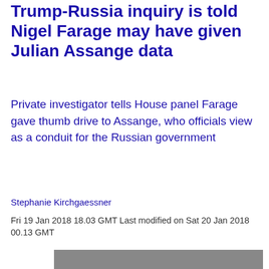Trump-Russia inquiry is told Nigel Farage may have given Julian Assange data
Private investigator tells House panel Farage gave thumb drive to Assange, who officials view as a conduit for the Russian government
Stephanie Kirchgaessner
Fri 19 Jan 2018 18.03 GMT Last modified on Sat 20 Jan 2018 00.13 GMT
[Figure (photo): Partially visible photo of people at the bottom of the page]